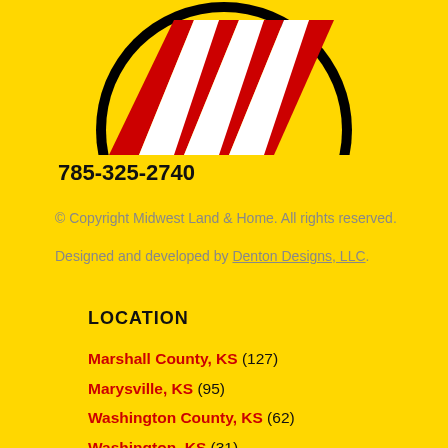[Figure (logo): Midwest Land & Home logo — circular black border with red and white diagonal chevron/arrow design on yellow background, partially cropped at top]
785-325-2740
© Copyright Midwest Land & Home. All rights reserved.
Designed and developed by Denton Designs, LLC.
LOCATION
Marshall County, KS (127)
Marysville, KS (95)
Washington County, KS (62)
Washington, KS (31)
Republic County (18)
Hanover, KS (11)